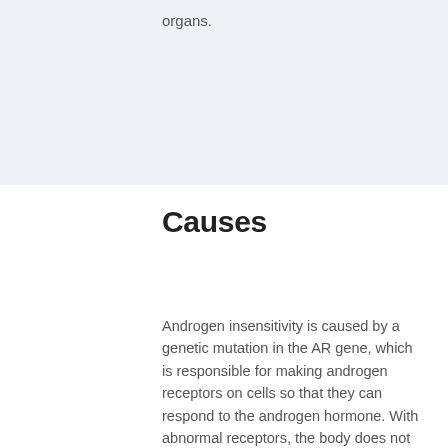organs.
Causes
Androgen insensitivity is caused by a genetic mutation in the AR gene, which is responsible for making androgen receptors on cells so that they can respond to the androgen hormone. With abnormal receptors, the body does not use the hormone despite its presence in normal levels.
The faulty gene is usually passed on from the mother to son as an X-linked recessive trait. This gene prevents the body of the child from responding to androgen and male sexual development is inhibited.